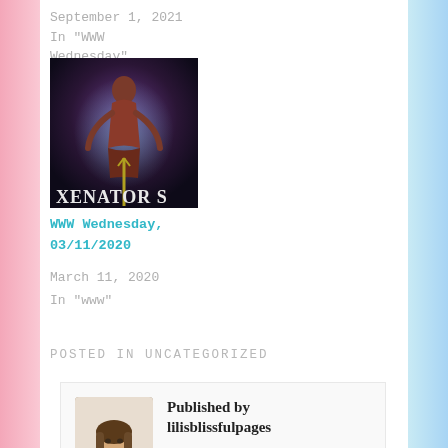September 1, 2021
In "WWW Wednesday"
[Figure (photo): Book cover image for Xenator S, featuring a figure with purple/dark tones]
WWW Wednesday, 03/11/2020
March 11, 2020
In "www"
POSTED IN UNCATEGORIZED
Published by lilisblissfulpages
Hi, I'm Lili. Welcome to